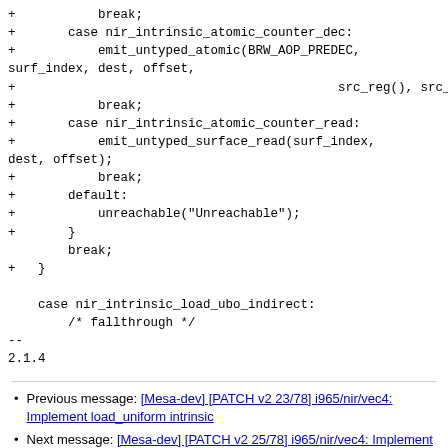+           break;
+       case nir_intrinsic_atomic_counter_dec:
+           emit_untyped_atomic(BRW_AOP_PREDEC,
surf_index, dest, offset,
+                                           src_reg(), src_reg());
+           break;
+       case nir_intrinsic_atomic_counter_read:
+           emit_untyped_surface_read(surf_index,
dest, offset);
+           break;
+       default:
+           unreachable("Unreachable");
+       }
        break;
+   }

    case nir_intrinsic_load_ubo_indirect:
        /* fallthrough */
--
2.1.4
Previous message: [Mesa-dev] [PATCH v2 23/78] i965/nir/vec4: Implement load_uniform intrinsic
Next message: [Mesa-dev] [PATCH v2 25/78] i965/nir/vec4: Implement loading values from an UBO
Messages sorted by: [ date ] [ thread ] [ subject ] [ author ]